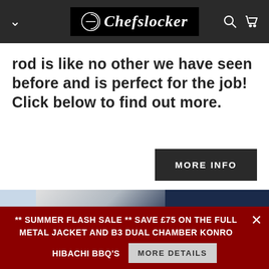Chefslocker
rod is like no other we have seen before and is perfect for the job! Click below to find out more.
MORE INFO
[Figure (photo): Partial photo of person, blurred background with dark blue section]
** SUMMER FLASH SALE ** SAVE £75 ON THE FULL METAL JACKET AND B3 DUAL CHAMBER KONRO HIBACHI BBQ'S
MORE DETAILS